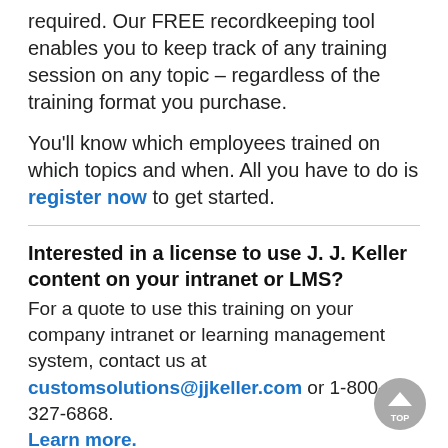required. Our FREE recordkeeping tool enables you to keep track of any training session on any topic – regardless of the training format you purchase.
You'll know which employees trained on which topics and when. All you have to do is register now to get started.
Interested in a license to use J. J. Keller content on your intranet or LMS?
For a quote to use this training on your company intranet or learning management system, contact us at customsolutions@jjkeller.com or 1-800-327-6868. Learn more.
System Req.
GENERAL